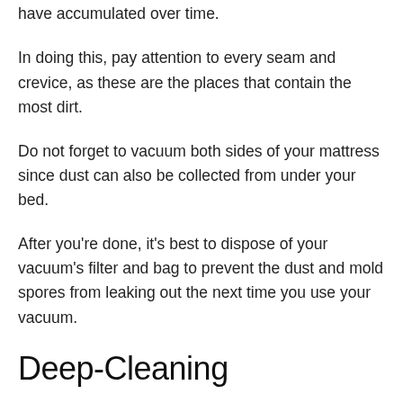The vacuum is your best weapon here. It can remove all the dust and dirt in your mattress that have accumulated over time.
In doing this, pay attention to every seam and crevice, as these are the places that contain the most dirt.
Do not forget to vacuum both sides of your mattress since dust can also be collected from under your bed.
After you're done, it's best to dispose of your vacuum's filter and bag to prevent the dust and mold spores from leaking out the next time you use your vacuum.
Deep-Cleaning
Sometimes, vacuuming alone is not enough. Over time, dirt gets accumulated deep within the mattress which can no longer be reached by the vacuum.